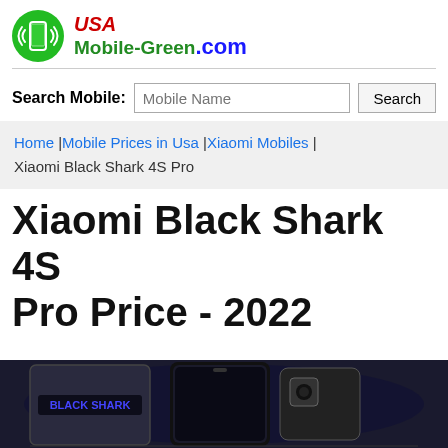[Figure (logo): USA Mobile-Green.com logo with green circle containing phone icon and signal waves, red italic USA text, green Mobile-Green text, blue .com text]
Search Mobile: [input] Search
Home | Mobile Prices in Usa | Xiaomi Mobiles | Xiaomi Black Shark 4S Pro
Xiaomi Black Shark 4S Pro Price - 2022
[Figure (photo): Xiaomi Black Shark 4S Pro phone image, dark background, showing front and back of device]